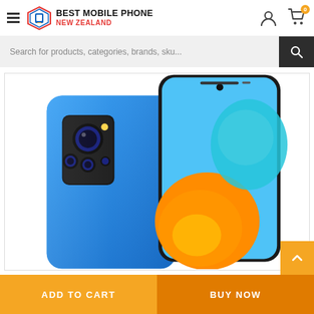Best Mobile Phone New Zealand
Search for products, categories, brands, sku...
[Figure (photo): Xiaomi Redmi Note 11 smartphone shown from front and back in blue color, featuring a quad-camera setup on the back and a hole-punch display on the front with colorful wallpaper]
ADD TO CART
BUY NOW